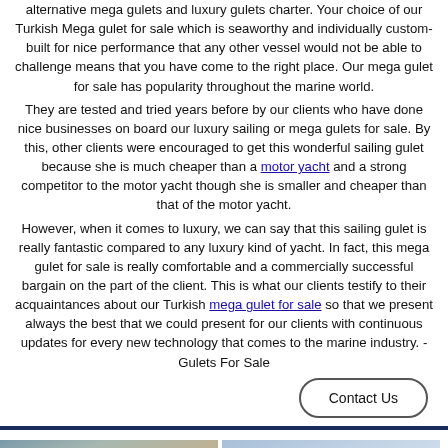alternative mega gulets and luxury gulets charter. Your choice of our Turkish Mega gulet for sale which is seaworthy and individually custom-built for nice performance that any other vessel would not be able to challenge means that you have come to the right place. Our mega gulet for sale has popularity throughout the marine world. They are tested and tried years before by our clients who have done nice businesses on board our luxury sailing or mega gulets for sale. By this, other clients were encouraged to get this wonderful sailing gulet because she is much cheaper than a motor yacht and a strong competitor to the motor yacht though she is smaller and cheaper than that of the motor yacht. However, when it comes to luxury, we can say that this sailing gulet is really fantastic compared to any luxury kind of yacht. In fact, this mega gulet for sale is really comfortable and a commercially successful bargain on the part of the client. This is what our clients testify to their acquaintances about our Turkish mega gulet for sale so that we present always the best that we could present for our clients with continuous updates for every new technology that comes to the marine industry. -Gulets For Sale
[Figure (photo): Photo of a sailing gulet deck with ropes and greenery visible]
[Figure (photo): Photo of a sailing gulet with white sails on blue water]